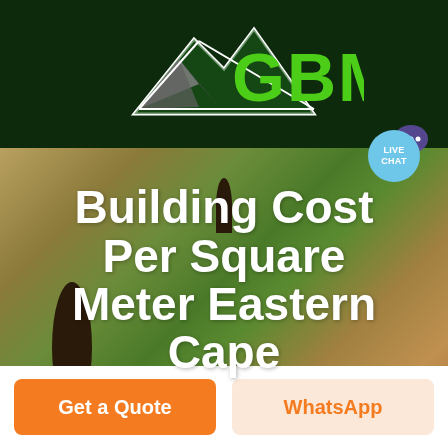[Figure (logo): GBM logo with mountain/arrow graphic on dark green background, green text 'GBM']
[Figure (screenshot): Live chat button with cyan speech bubble and purple icon in top right]
[Figure (photo): Aerial view of green and golden farmland with cypress trees, hero image background]
Building Cost Per Square Meter Eastern Cape
Get a Quote
WhatsApp